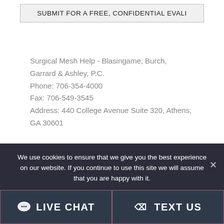SUBMIT FOR A FREE, CONFIDENTIAL EVALI
Surgical Mesh Help - Blasingame, Burch, Garrard & Ashley, P.C.
Phone: 706-354-4000
Fax: 706-549-3545
Address: 440 College Avenue Suite 320, Athens, GA 30601
We use cookies to ensure that we give you the best experience on our website. If you continue to use this site we will assume that you are happy with it.
LIVE CHAT
TEXT US